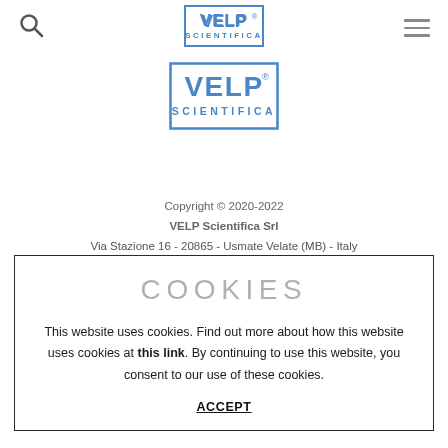VELP Scientifica navigation bar with search icon, VELP SCIENTIFICA logo, and hamburger menu
[Figure (logo): VELP Scientifica logo — blue rectangular border with VELP in large letters and SCIENTIFICA below]
Copyright © 2020-2022
VELP Scientifica Srl
Via Stazione 16 - 20865 - Usmate Velate (MB) - Italy
COOKIES
This website uses cookies. Find out more about how this website uses cookies at this link. By continuing to use this website, you consent to our use of these cookies.
ACCEPT